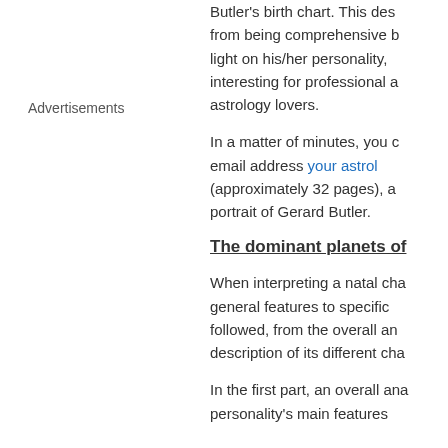Butler's birth chart. This description is far from being comprehensive but it is meant to shed light on his/her personality, and it is quite interesting for professional astrologers as well as astrology lovers.
In a matter of minutes, you can receive at your email address your astrology portrait (approximately 32 pages), a comprehensive portrait of Gerard Butler.
The dominant planets of
When interpreting a natal chart, the best method is to start from general features to specific ones. This method is followed, from the overall analysis of the chart to the description of its different characteristics.
In the first part, an overall analysis of the chart enables us to saw the personality's main features
Advertisements